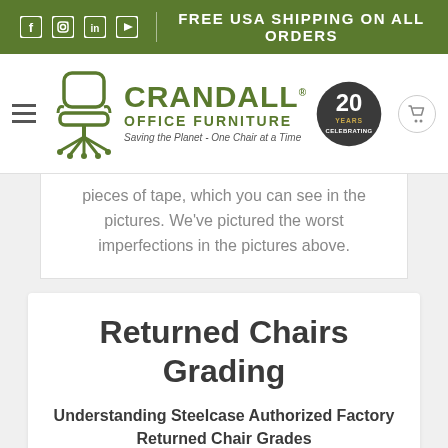FREE USA SHIPPING ON ALL ORDERS
[Figure (logo): Crandall Office Furniture logo with chair icon, 20 Years Celebrating badge]
pieces of tape, which you can see in the pictures. We've pictured the worst imperfections in the pictures above.
Returned Chairs Grading
Understanding Steelcase Authorized Factory Returned Chair Grades